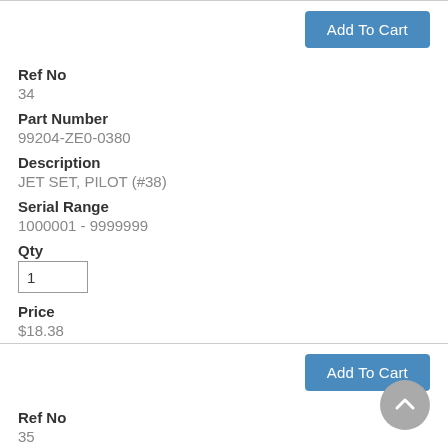[Figure (screenshot): Add To Cart button (top)]
Ref No
34
Part Number
99204-ZE0-0380
Description
JET SET, PILOT (#38)
Serial Range
1000001 - 9999999
Qty
1
Price
$18.38
[Figure (screenshot): Add To Cart button (bottom)]
Ref No
35
Part Number